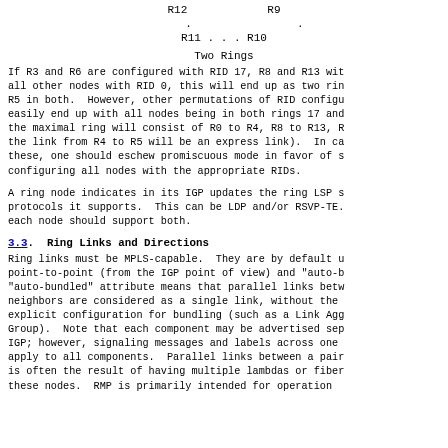R12        R9
    .         .
   R11 . . . R10

     Two Rings
If R3 and R6 are configured with RID 17, R8 and R13 with all other nodes with RID 0, this will end up as two rin R5 in both. However, other permutations of RID configu easily end up with all nodes being in both rings 17 and the maximal ring will consist of R0 to R4, R8 to R13, R the link from R4 to R5 will be an express link). In ca these, one should eschew promiscuous mode in favor of s configuring all nodes with the appropriate RIDs.
A ring node indicates in its IGP updates the ring LSP s protocols it supports. This can be LDP and/or RSVP-TE. each node should support both.
3.3. Ring Links and Directions
Ring links must be MPLS-capable. They are by default u point-to-point (from the IGP point of view) and "auto-b "auto-bundled" attribute means that parallel links betw neighbors are considered as a single link, without the explicit configuration for bundling (such as a Link Agg Group). Note that each component may be advertised sep IGP; however, signaling messages and labels across one apply to all components. Parallel links between a pair is often the result of having multiple lambdas or fiber these nodes. RMP is primarily intended for operation